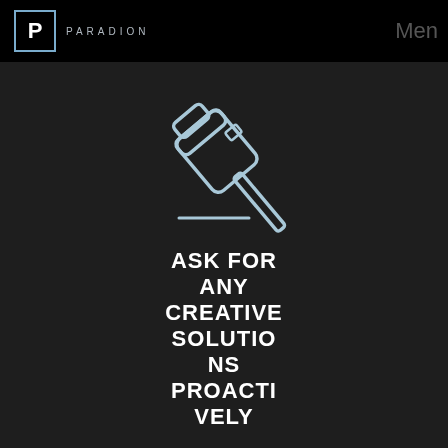PARADION | Menu
[Figure (illustration): Line icon of a gavel/mallet tilted at an angle on a dark background, with a horizontal line beneath it, in light blue/white strokes]
ASK FOR ANY CREATIVE SOLUTIONS PROACTIVELY
[Figure (illustration): Line icon of two hands shaking in a heart shape, in light blue/white strokes on dark background]